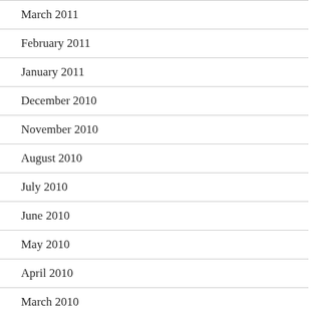March 2011
February 2011
January 2011
December 2010
November 2010
August 2010
July 2010
June 2010
May 2010
April 2010
March 2010